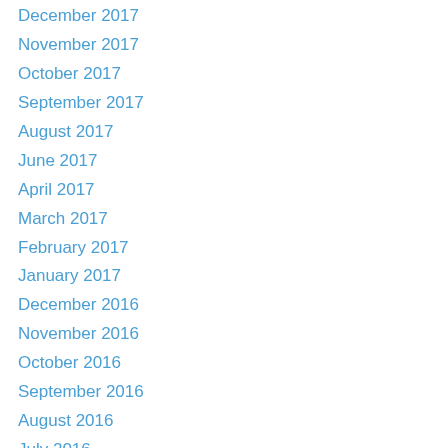December 2017
November 2017
October 2017
September 2017
August 2017
June 2017
April 2017
March 2017
February 2017
January 2017
December 2016
November 2016
October 2016
September 2016
August 2016
July 2016
June 2016
May 2016
April 2016
March 2016